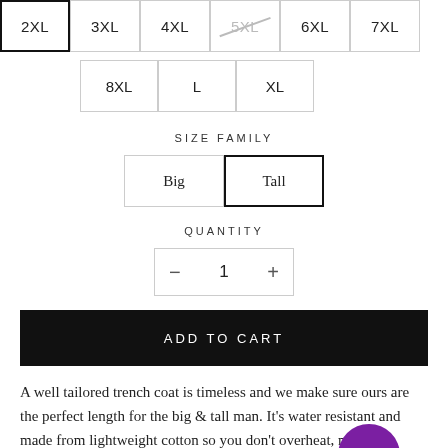Size options: 2XL (selected), 3XL, 4XL, 5XL (unavailable), 6XL, 7XL, 8XL, L, XL
SIZE FAMILY
Size family options: Big, Tall (selected)
QUANTITY
Quantity: 1
ADD TO CART
A well tailored trench coat is timeless and we make sure ours are the perfect length for the big & tall man. It's water resistant and made from lightweight cotton so you don't overheat, making it perfect for the changing seasons.